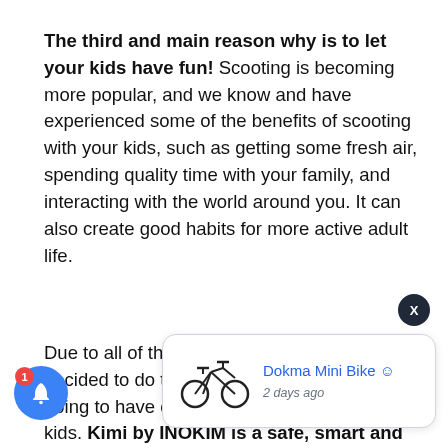The third and main reason why is to let your kids have fun! Scooting is becoming more popular, and we know and have experienced some of the benefits of scooting with your kids, such as getting some fresh air, spending quality time with your family, and interacting with the world around you. It can also create good habits for more active adult life.
Due to all of these reasons, Doctor Scooter decided to do their part and we are now going to have our first electric scooter for kids. Kimi by INOKIM is a safe, smart and sustainable electric scooter designed for kids aged 5 and up. This kid... scooter world d... with it ma... enjoyable for the little ones. This adorable scooter has a
[Figure (illustration): Popup card showing a folding mini bike illustration with text 'Dokma Mini Bike ☺' and '2 days ago', plus a close (X) button and a blue notification bell button with red badge showing '1']